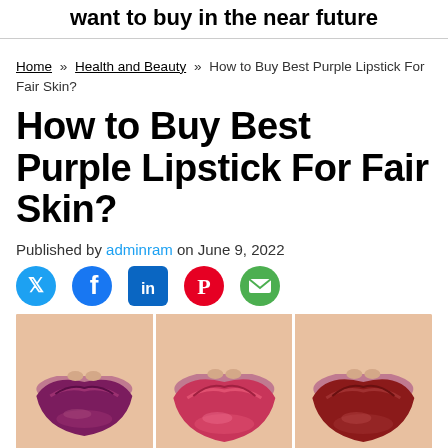want to buy in the near future
Home » Health and Beauty » How to Buy Best Purple Lipstick For Fair Skin?
How to Buy Best Purple Lipstick For Fair Skin?
Published by adminram on June 9, 2022
[Figure (infographic): Social media share icons: Twitter, Facebook, LinkedIn, Pinterest, Email]
[Figure (photo): Three close-up images of lips wearing different shades of lipstick: purple/magenta, hot pink/berry, and dark red/burgundy]